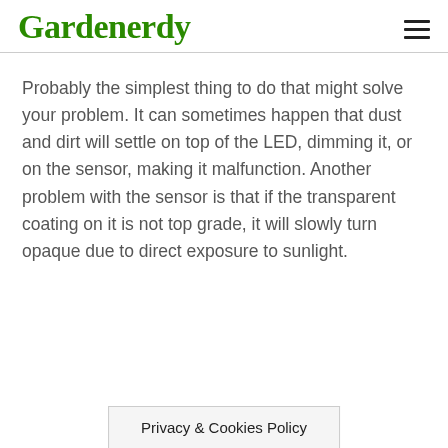Gardenerdy
Probably the simplest thing to do that might solve your problem. It can sometimes happen that dust and dirt will settle on top of the LED, dimming it, or on the sensor, making it malfunction. Another problem with the sensor is that if the transparent coating on it is not top grade, it will slowly turn opaque due to direct exposure to sunlight.
Privacy & Cookies Policy